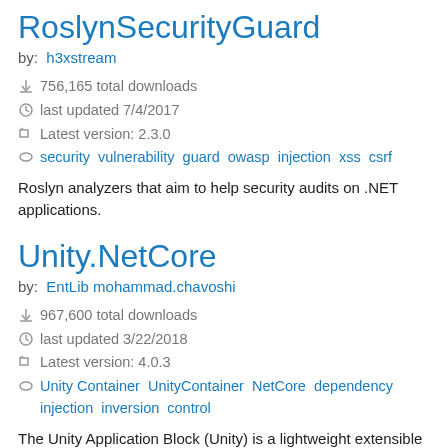RoslynSecurityGuard
by: h3xstream
756,165 total downloads
last updated 7/4/2017
Latest version: 2.3.0
security vulnerability guard owasp injection xss csrf
Roslyn analyzers that aim to help security audits on .NET applications.
Unity.NetCore
by: EntLib mohammad.chavoshi
967,600 total downloads
last updated 3/22/2018
Latest version: 4.0.3
Unity Container UnityContainer NetCore dependency injection inversion control
The Unity Application Block (Unity) is a lightweight extensible dependency injection container with support for constructor, property, and method call injection. It facilitates loosely-coupled design through dependency configuration and interception.